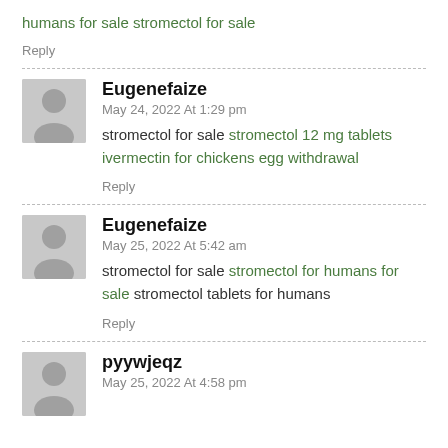humans for sale stromectol for sale
Reply
Eugenefaize
May 24, 2022 At 1:29 pm
stromectol for sale stromectol 12 mg tablets ivermectin for chickens egg withdrawal
Reply
Eugenefaize
May 25, 2022 At 5:42 am
stromectol for sale stromectol for humans for sale stromectol tablets for humans
Reply
pyywjeqz
May 25, 2022 At 4:58 pm